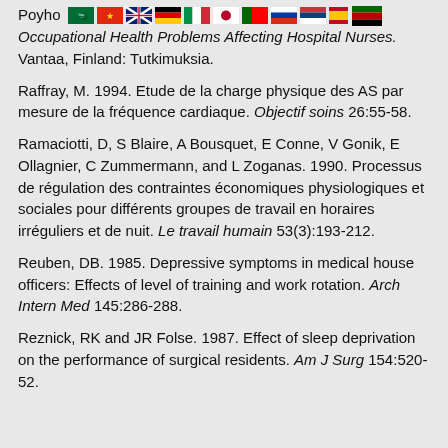Poyho… [flags] Occupational Health Problems Affecting Hospital Nurses. Vantaa, Finland: Tutkimuksia.
Raffray, M. 1994. Etude de la charge physique des AS par mesure de la fréquence cardiaque. Objectif soins 26:55-58.
Ramaciotti, D, S Blaire, A Bousquet, E Conne, V Gonik, E Ollagnier, C Zummermann, and L Zoganas. 1990. Processus de régulation des contraintes économiques physiologiques et sociales pour différents groupes de travail en horaires irréguliers et de nuit. Le travail humain 53(3):193-212.
Reuben, DB. 1985. Depressive symptoms in medical house officers: Effects of level of training and work rotation. Arch Intern Med 145:286-288.
Reznick, RK and JR Folse. 1987. Effect of sleep deprivation on the performance of surgical residents. Am J Surg 154:520-52.